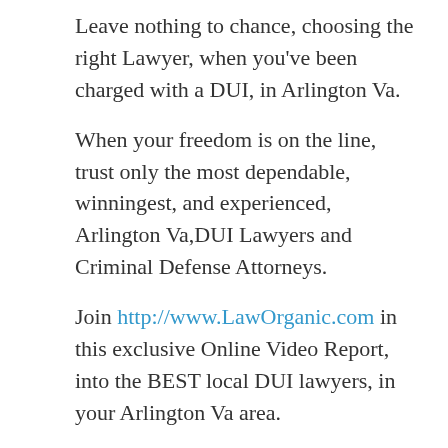Leave nothing to chance, choosing the right Lawyer, when you've been charged with a DUI, in Arlington Va.
When your freedom is on the line, trust only the most dependable, winningest, and experienced, Arlington Va,DUI Lawyers and Criminal Defense Attorneys.
Join http://www.LawOrganic.com in this exclusive Online Video Report, into the BEST local DUI lawyers, in your Arlington Va area.
When you need the facts, on how to beat your DUI, and how to find the best local DUI Lawyers, and Arlington Va DUI Attorneys, go to http://www.BestLawAttorney.com and